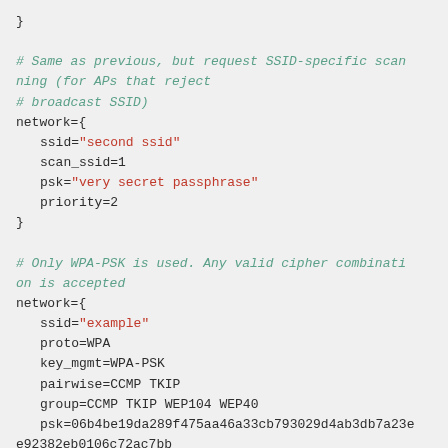}
# Same as previous, but request SSID-specific scanning (for APs that reject
# broadcast SSID)
network={
    ssid="second ssid"
    scan_ssid=1
    psk="very secret passphrase"
    priority=2
}
# Only WPA-PSK is used. Any valid cipher combination is accepted
network={
    ssid="example"
    proto=WPA
    key_mgmt=WPA-PSK
    pairwise=CCMP TKIP
    group=CCMP TKIP WEP104 WEP40
    psk=06b4be19da289f475aa46a33cb793029d4ab3db7a23ee92382eb0106c72ac7bb
    priority=2
}